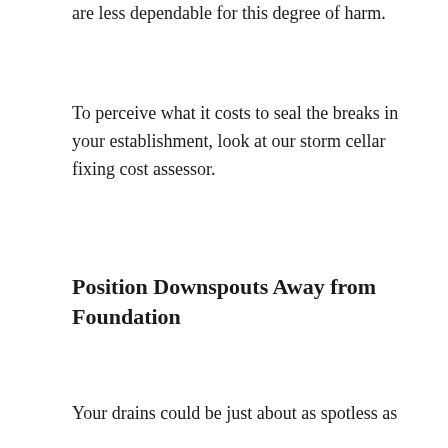are less dependable for this degree of harm.
To perceive what it costs to seal the breaks in your establishment, look at our storm cellar fixing cost assessor.
Position Downspouts Away from Foundation
Your drains could be just about as spotless as